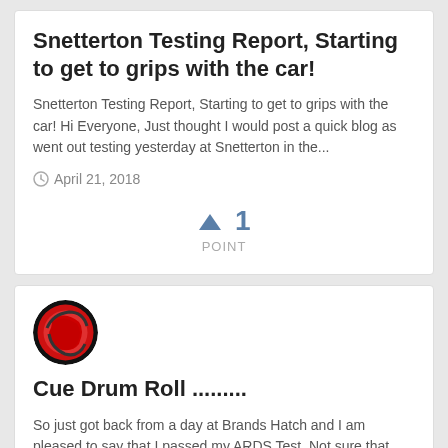Snetterton Testing Report, Starting to get to grips with the car!
Snetterton Testing Report, Starting to get to grips with the car! Hi Everyone, Just thought I would post a quick blog as went out testing yesterday at Snetterton in the...
April 21, 2018
↑ 1
POINT
[Figure (photo): Red and black circular logo/avatar]
Cue Drum Roll .........
So just got back from a day at Brands Hatch and I am pleased to say that I passed my ARDS Test. Not sure that quite makes me a racing driver yet but it is definitely a...